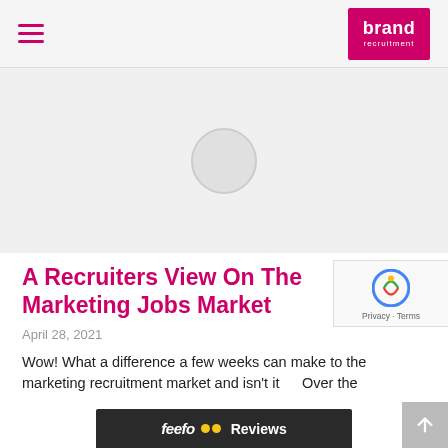brand recruitment — navigation header with logo
[Figure (illustration): Light grey hero image area with a centered circular placeholder icon]
A Recruiters View On The Marketing Jobs Market
April 28, 2021
Wow! What a difference a few weeks can make to the marketing recruitment market and isn't it Over the